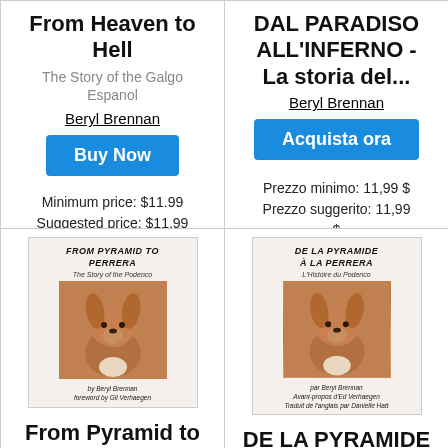From Heaven to Hell
The Story of the Galgo Espanol
Beryl Brennan
Buy Now
Minimum price: $11.99
Suggested price: $11.99
DAL PARADISO ALL'INFERNO - La storia del...
Beryl Brennan
Acquista ora
Prezzo minimo: 11,99 $
Prezzo suggerito: 11,99 $
[Figure (illustration): Book cover of 'From Pyramid to Perrera - The Story of the Podenco' by Beryl Brennan, foreword by Gil Verhaegen, featuring a photo of a brown dog with large ears.]
From Pyramid to Perrera
[Figure (illustration): Book cover of 'De la Pyramide à la Perrera - L'Histoire du Podenco' par Beryl Brennan, Avant-propos d'Ed Verhaegen, Traduit de l'anglais par Danielle Hatt, featuring a photo of a brown dog with large ears.]
DE LA PYRAMIDE À LA PERRERA